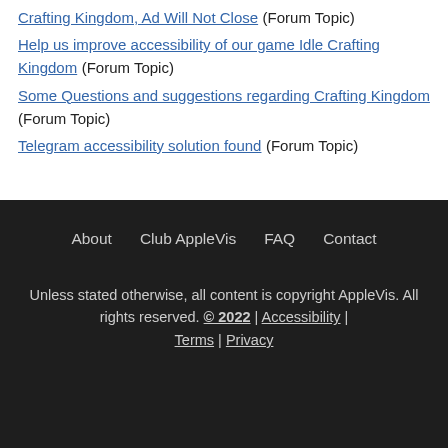Crafting Kingdom, Ad Will Not Close (Forum Topic)
Help us improve accessibility of our game Idle Crafting Kingdom (Forum Topic)
Some Questions and suggestions regarding Crafting Kingdom (Forum Topic)
Telegram accessibility solution found (Forum Topic)
About | Club AppleVis | FAQ | Contact
Unless stated otherwise, all content is copyright AppleVis. All rights reserved. © 2022 | Accessibility | Terms | Privacy